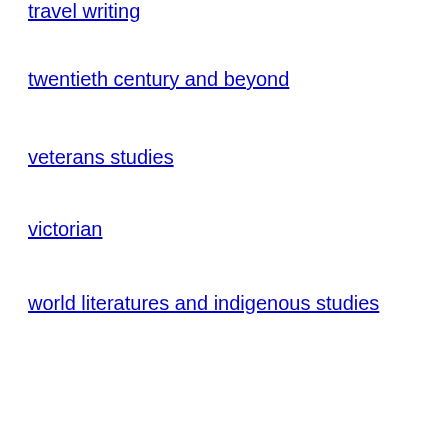travel writing
twentieth century and beyond
veterans studies
victorian
world literatures and indigenous studies
president, on the  – Dbit – Dbb –
CFP: Composition Stu...
updated: Tuesday, February ...
Weiser, Mary Elizabeth
The editors of Composition St... composition in the small colle... teaching or administering cor... differences in size, mission, a... writing programs and writing ... and should small colleges pla... How can writing instruction in... question dominant assumptio... work? Course designs are als... format.
CFP: Thinking Class...